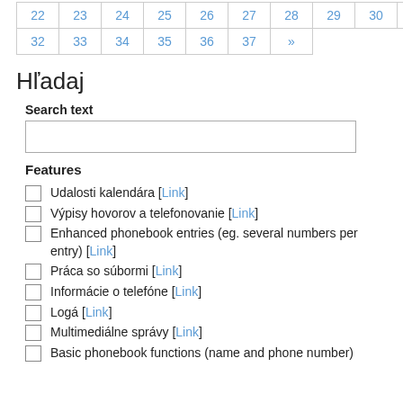| 22 | 23 | 24 | 25 | 26 | 27 | 28 | 29 | 30 | 31 |
| 32 | 33 | 34 | 35 | 36 | 37 | » |  |  |  |
Hľadaj
Search text
Features
Udalosti kalendára [Link]
Výpisy hovorov a telefonovanie [Link]
Enhanced phonebook entries (eg. several numbers per entry) [Link]
Práca so súbormi [Link]
Informácie o telefóne [Link]
Logá [Link]
Multimediálne správy [Link]
Basic phonebook functions (name and phone number)